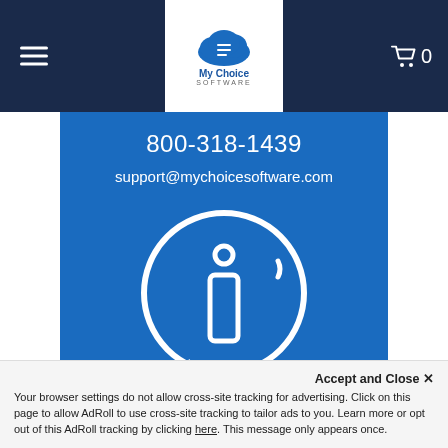[Figure (logo): My Choice Software logo with cloud icon and text 'My Choice SOFTWARE']
[Figure (infographic): Blue banner showing phone number 800-318-1439, email support@mychoicesoftware.com, and a white speech bubble with 'i' information icon]
Accept and Close ✕
Your browser settings do not allow cross-site tracking for advertising. Click on this page to allow AdRoll to use cross-site tracking to tailor ads to you. Learn more or opt out of this AdRoll tracking by clicking here. This message only appears once.